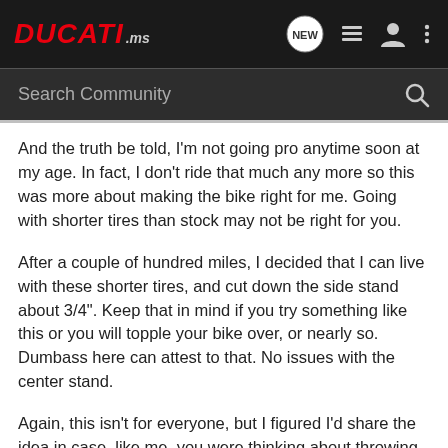DUCATI.ms
Search Community
And the truth be told, I'm not going pro anytime soon at my age. In fact, I don't ride that much any more so this was more about making the bike right for me. Going with shorter tires than stock may not be right for you.
After a couple of hundred miles, I decided that I can live with these shorter tires, and cut down the side stand about 3/4". Keep that in mind if you try something like this or you will topple your bike over, or nearly so. Dumbass here can attest to that. No issues with the center stand.
Again, this isn't for everyone, but I figured I'd share the idea in case, like me, you were thinking about throwing the baby out with the bath water and buying a shorter, more manageable